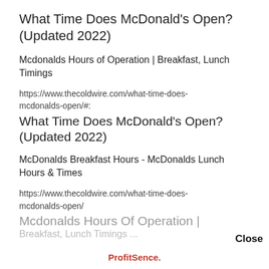What Time Does McDonald’s Open? (Updated 2022)
Mcdonalds Hours of Operation | Breakfast, Lunch Timings
https://www.thecoldwire.com/what-time-does-mcdonalds-open/#:
What Time Does McDonald’s Open? (Updated 2022)
McDonalds Breakfast Hours - McDonalds Lunch Hours & Times
https://www.thecoldwire.com/what-time-does-mcdonalds-open/
Mcdonalds Hours Of Operation | Breakfast, Lunch Timings ...
Close
ProfitSence.